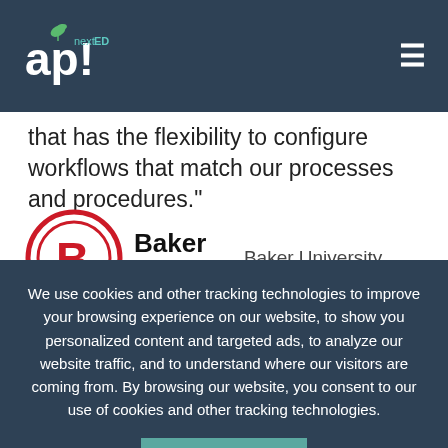[Figure (logo): apt nextED logo - white text on dark background with green leaf]
that has the flexibility to configure workflows that match our processes and procedures."
[Figure (logo): Baker College circular red logo with B, followed by Baker College bold text, and Baker University text]
Anne Lansberry
Director of Assessment
We use cookies and other tracking technologies to improve your browsing experience on our website, to show you personalized content and targeted ads, to analyze our website traffic, and to understand where our visitors are coming from. By browsing our website, you consent to our use of cookies and other tracking technologies.
ACCEPT